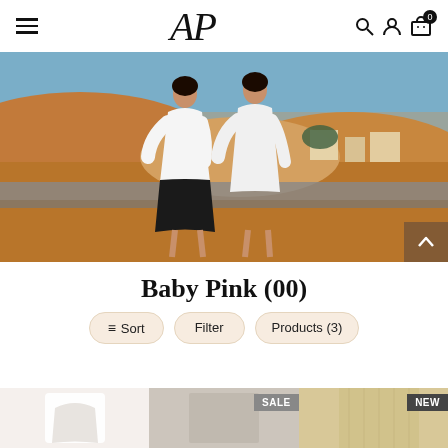AP brand logo, hamburger menu, search, account, cart (0)
[Figure (photo): Two women in white outfits sitting on a concrete ledge in a desert landscape with sand dunes and blue sky background]
Baby Pink (00)
≡ Sort   Filter   Products (3)
[Figure (photo): Product thumbnails at the bottom: left shows a white garment, center shows a garment with SALE badge, right shows a light golden garment with NEW badge]